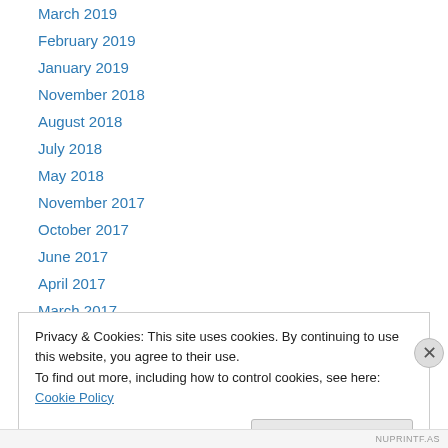March 2019
February 2019
January 2019
November 2018
August 2018
July 2018
May 2018
November 2017
October 2017
June 2017
April 2017
March 2017
February 2017
Privacy & Cookies: This site uses cookies. By continuing to use this website, you agree to their use.
To find out more, including how to control cookies, see here: Cookie Policy
NUPRINTF.AS